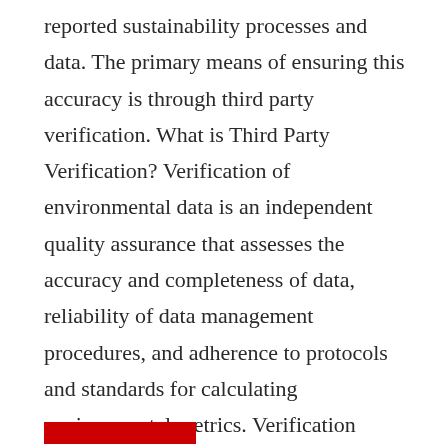reported sustainability processes and data. The primary means of ensuring this accuracy is through third party verification. What is Third Party Verification? Verification of environmental data is an independent quality assurance that assesses the accuracy and completeness of data, reliability of data management procedures, and adherence to protocols and standards for calculating environmental metrics. Verification evaluates whether your greenhouse gas emissions data and other key environmental metrics are relevant, complete, consistent, transparent and accurate. Verification is typically conducted to either a limited or reasonable level of assurance. A limited assurance results in a negative statement, which indicates that nothing wrong